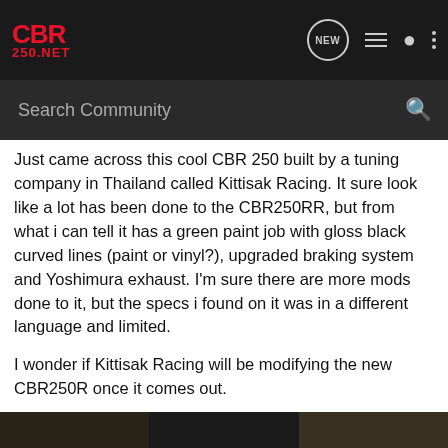CBR 250.NET — Search Community
Just came across this cool CBR 250 built by a tuning company in Thailand called Kittisak Racing. It sure look like a lot has been done to the CBR250RR, but from what i can tell it has a green paint job with gloss black curved lines (paint or vinyl?), upgraded braking system and Yoshimura exhaust. I'm sure there are more mods done to it, but the specs i found on it was in a different language and limited.
I wonder if Kittisak Racing will be modifying the new CBR250R once it comes out.
pic's were taken from here: Honda CBR 250 Modified Kittisak Racing thailand.. « Asmarantaka's Personal Blog
[Figure (photo): Bottom strip showing partial image of a motorcycle]